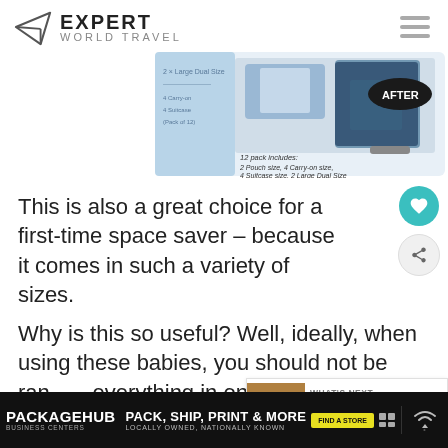EXPERT WORLD TRAVEL
[Figure (photo): Product box showing vacuum space saver bags. Box reads: 12 pack includes: 2 Pouch size, 4 Carry-on size, 4 Suitcase size, 2 Large Dual Size. Shows AFTER label with packed suitcase image.]
This is also a great choice for a first-time space saver – because it comes in such a variety of sizes.
Why is this so useful? Well, ideally, when using these babies, you should not be ramming everything in one big bag. It's too hard to pack.
[Figure (other): WHAT'S NEXT overlay with thumbnail: How To Wash A Sleeping...]
[Figure (other): PackageHub advertisement: PACK, SHIP, PRINT & MORE - LOCALLY OWNED, NATIONALLY KNOWN - FIND A STORE]